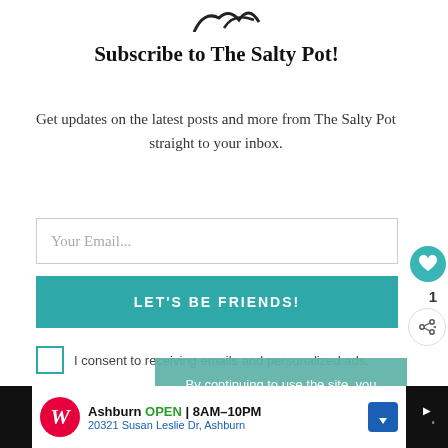[Figure (illustration): Partial bird silhouette logo at top, cut off]
Subscribe to The Salty Pot!
Get updates on the latest posts and more from The Salty Pot straight to your inbox.
Your Email... [input field]
LET'S BE FRIENDS! [button]
I consent to receiving emails and personalized ads.
By continuing to use the site, you agree to the use of cookies. more information
ACCEPT
What to Serve with Air Fryer S...
[Figure (photo): Air Fryer Chicken Fries thumbnail]
WHAT'S NEXT → Air Fryer Chicken Fries
[Figure (infographic): Walgreens advertisement: Ashburn OPEN 8AM-10PM, 20321 Susan Leslie Dr, Ashburn]